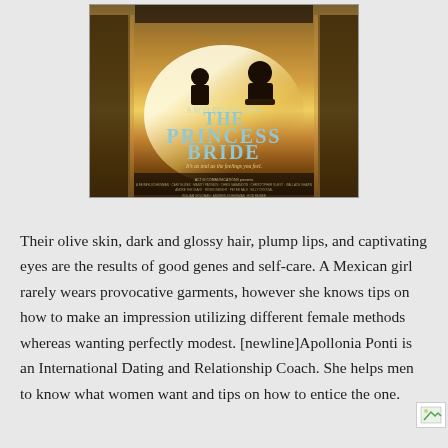[Figure (photo): Movie poster for 'The Princess Bride' — shows silhouetted figures in warm golden light, with the title 'THE PRINCESS BRIDE' prominently displayed along with the tagline 'It's as real as the feelings you feel.' and cast/crew credits at the bottom.]
Their olive skin, dark and glossy hair, plump lips, and captivating eyes are the results of good genes and self-care. A Mexican girl rarely wears provocative garments, however she knows tips on how to make an impression utilizing different female methods whereas wanting perfectly modest. [newline]Apollonia Ponti is an International Dating and Relationship Coach. She helps men to know what women want and tips on how to entice the one.